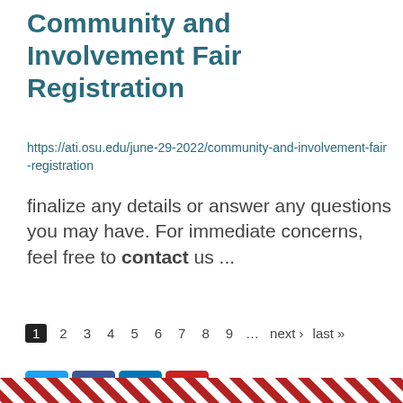Community and Involvement Fair Registration
https://ati.osu.edu/june-29-2022/community-and-involvement-fair-registration
finalize any details or answer any questions you may have. For immediate concerns, feel free to contact us ...
1 2 3 4 5 6 7 8 9 … next › last »
[Figure (other): Social media sharing icons: Twitter (blue), Facebook (blue), LinkedIn (blue), share/bookmark (red)]